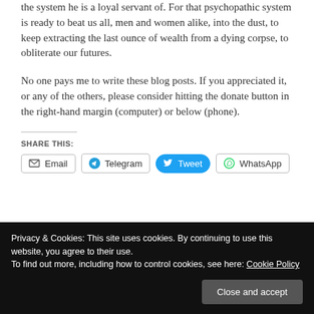the system he is a loyal servant of. For that psychopathic system is ready to beat us all, men and women alike, into the dust, to keep extracting the last ounce of wealth from a dying corpse, to obliterate our futures.
No one pays me to write these blog posts. If you appreciated it, or any of the others, please consider hitting the donate button in the right-hand margin (computer) or below (phone).
SHARE THIS:
Email  Telegram  Tweet  WhatsApp
Privacy & Cookies: This site uses cookies. By continuing to use this website, you agree to their use.
To find out more, including how to control cookies, see here: Cookie Policy